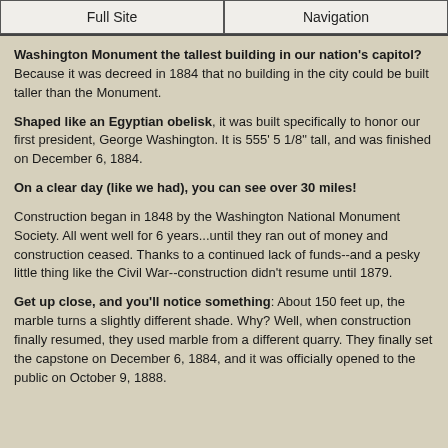Full Site | Navigation
Washington Monument the tallest building in our nation's capitol? Because it was decreed in 1884 that no building in the city could be built taller than the Monument.
Shaped like an Egyptian obelisk, it was built specifically to honor our first president, George Washington. It is 555' 5 1/8" tall, and was finished on December 6, 1884.
On a clear day (like we had), you can see over 30 miles!
Construction began in 1848 by the Washington National Monument Society. All went well for 6 years...until they ran out of money and construction ceased. Thanks to a continued lack of funds--and a pesky little thing like the Civil War--construction didn't resume until 1879.
Get up close, and you'll notice something: About 150 feet up, the marble turns a slightly different shade. Why? Well, when construction finally resumed, they used marble from a different quarry. They finally set the capstone on December 6, 1884, and it was officially opened to the public on October 9, 1888.